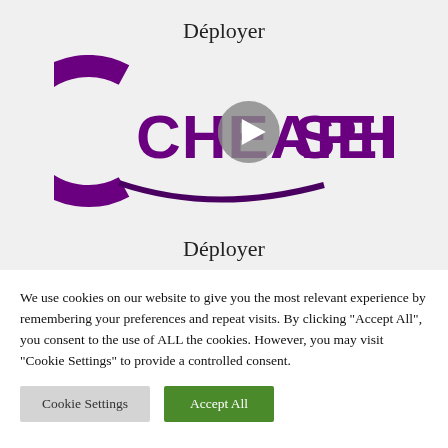Déployer
[Figure (logo): CheapHouseband logo in purple with a circular swoosh design, overlaid with a gray play button circle]
Déployer
We use cookies on our website to give you the most relevant experience by remembering your preferences and repeat visits. By clicking "Accept All", you consent to the use of ALL the cookies. However, you may visit "Cookie Settings" to provide a controlled consent.
Cookie Settings | Accept All